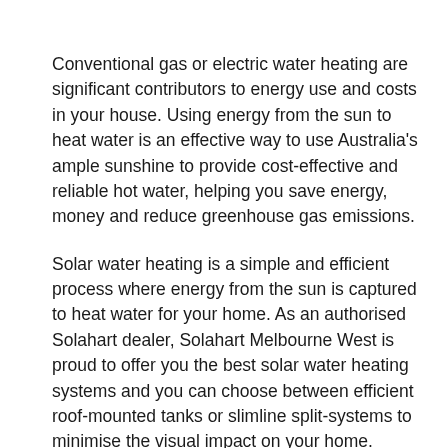Conventional gas or electric water heating are significant contributors to energy use and costs in your house. Using energy from the sun to heat water is an effective way to use Australia's ample sunshine to provide cost-effective and reliable hot water, helping you save energy, money and reduce greenhouse gas emissions.
Solar water heating is a simple and efficient process where energy from the sun is captured to heat water for your home. As an authorised Solahart dealer, Solahart Melbourne West is proud to offer you the best solar water heating systems and you can choose between efficient roof-mounted tanks or slimline split-systems to minimise the visual impact on your home.